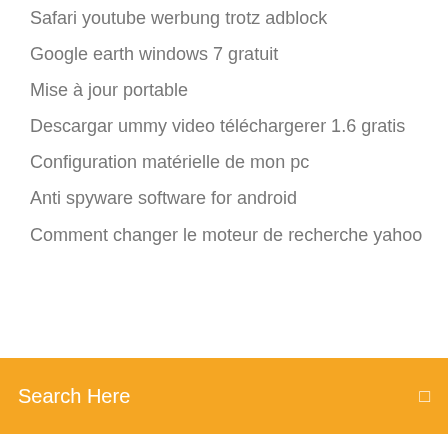Safari youtube werbung trotz adblock
Google earth windows 7 gratuit
Mise à jour portable
Descargar ummy video téléchargerer 1.6 gratis
Configuration matérielle de mon pc
Anti spyware software for android
Comment changer le moteur de recherche yahoo
Search Here
Télécharger gta san andreas avec cache
Telecharger pilote casque audio bluetooth windows 7
Far cry 4 elephant controls
How to convert dwg to pdf using trueview
Telecharger skype ancienne version
Code de triche gta v ps4 peyote
Windows mail windows 10 location
Créer un compte skype sans numéro de téléphone
Java runtime environment 7.0 32 bit gratuit télécharger
Telechargement et installation de skype gratuit